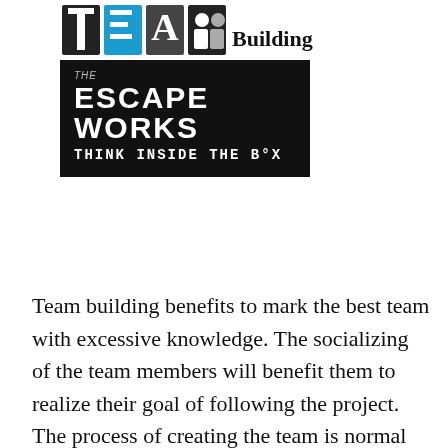[Figure (logo): Team building logo at top with 'THE ESCAPE WORKS - THINK INSIDE THE BOX' branding on a black background]
Team building benefits to mark the best team with excessive knowledge. The socializing of the team members will benefit them to realize their goal of following the project. The process of creating the team is normal and this can be reinforced when the team takes the interval to come up with definite team guidelines. These instructions and guidelines help the team members to know about the interface of the team